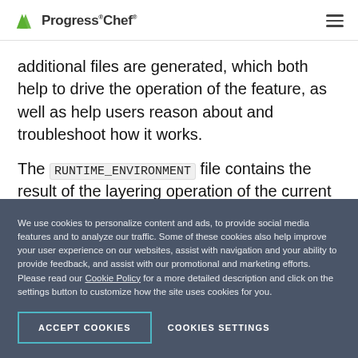Progress Chef
additional files are generated, which both help to drive the operation of the feature, as well as help users reason about and troubleshoot how it works.
The RUNTIME_ENVIRONMENT file contains the result of the layering operation of the current package's runtime environment variables on top of those of its dependencies. This is what the build process
We use cookies to personalize content and ads, to provide social media features and to analyze our traffic. Some of these cookies also help improve your user experience on our websites, assist with navigation and your ability to provide feedback, and assist with our promotional and marketing efforts. Please read our Cookie Policy for a more detailed description and click on the settings button to customize how the site uses cookies for you.
ACCEPT COOKIES
COOKIES SETTINGS